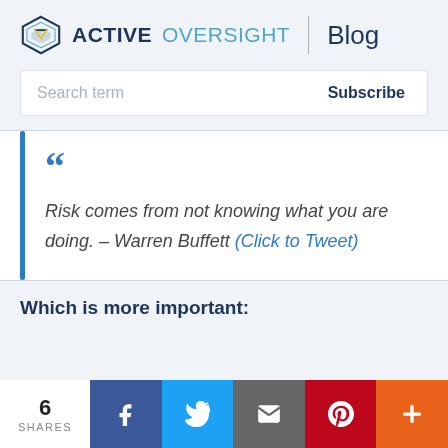ACTIVE OVERSIGHT | Blog
Search term
Subscribe
"  Risk comes from not knowing what you are doing. – Warren Buffett (Click to Tweet)
Which is more important:
6 SHARES  [Facebook] [Twitter] [Email] [Pinterest] [More]